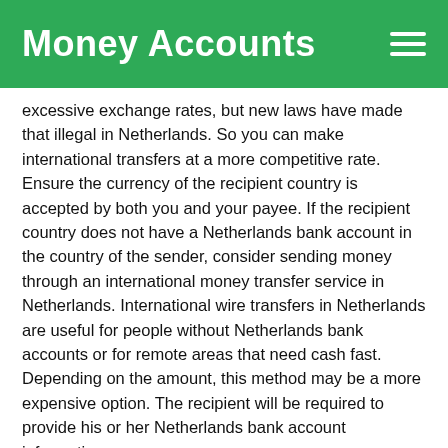Money Accounts
excessive exchange rates, but new laws have made that illegal in Netherlands. So you can make international transfers at a more competitive rate. Ensure the currency of the recipient country is accepted by both you and your payee. If the recipient country does not have a Netherlands bank account in the country of the sender, consider sending money through an international money transfer service in Netherlands. International wire transfers in Netherlands are useful for people without Netherlands bank accounts or for remote areas that need cash fast. Depending on the amount, this method may be a more expensive option. The recipient will be required to provide his or her Netherlands bank account information.
Checking the exchange rate in Netherlands is a crucial part of the international money transfer process. Most international transfers are completed within the same day. Before initiating the transfer in Netherlands, be sure to carefully read the terms and conditions to avoid any unpleasant surprises. Make sure to choose an institution with a good track record and strong security measures. It is important to avoid any fees if you are sending money abroad in